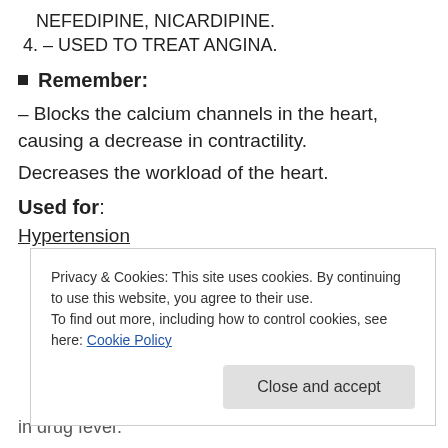NEFEDIPINE, NICARDIPINE.
4. – USED TO TREAT ANGINA.
Remember:
– Blocks the calcium channels in the heart, causing a decrease in contractility.
Decreases the workload of the heart.
Used for:
Hypertension
Privacy & Cookies: This site uses cookies. By continuing to use this website, you agree to their use. To find out more, including how to control cookies, see here: Cookie Policy
in drug fever.